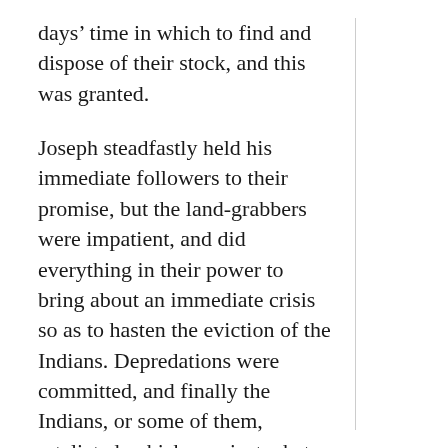days' time in which to find and dispose of their stock, and this was granted.
Joseph steadfastly held his immediate followers to their promise, but the land-grabbers were impatient, and did everything in their power to bring about an immediate crisis so as to hasten the eviction of the Indians. Depredations were committed, and finally the Indians, or some of them, retaliated, which was just what their enemies had been looking for. There might be a score of white men murdered among themselves on the frontier and no outsider would ever hear